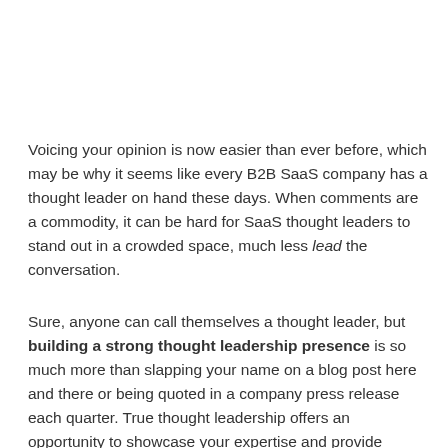Voicing your opinion is now easier than ever before, which may be why it seems like every B2B SaaS company has a thought leader on hand these days. When comments are a commodity, it can be hard for SaaS thought leaders to stand out in a crowded space, much less lead the conversation.
Sure, anyone can call themselves a thought leader, but building a strong thought leadership presence is so much more than slapping your name on a blog post here and there or being quoted in a company press release each quarter. True thought leadership offers an opportunity to showcase your expertise and provide valuable information that can help other leaders